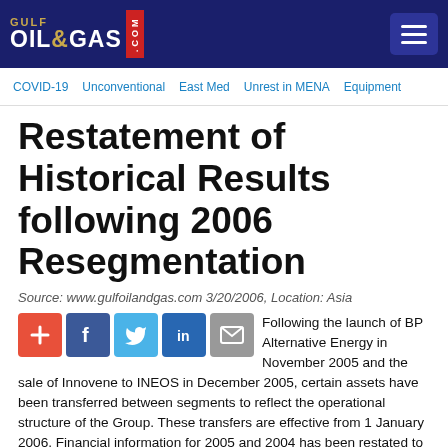GULF OIL & GAS .com
COVID-19   Unconventional   East Med   Unrest in MENA   Equipment
Restatement of Historical Results following 2006 Resegmentation
Source: www.gulfoilandgas.com 3/20/2006, Location: Asia
Following the launch of BP Alternative Energy in November 2005 and the sale of Innovene to INEOS in December 2005, certain assets have been transferred between segments to reflect the operational structure of the Group. These transfers are effective from 1 January 2006. Financial information for 2005 and 2004 has been restated to reflect these transfers. An Excel version is also provided which